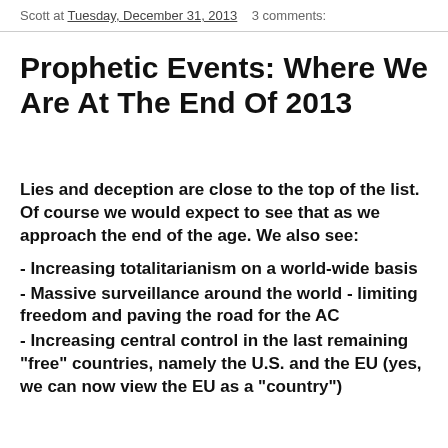Scott at Tuesday, December 31, 2013    3 comments:
Prophetic Events: Where We Are At The End Of 2013
Lies and deception are close to the top of the list. Of course we would expect to see that as we approach the end of the age. We also see:
- Increasing totalitarianism on a world-wide basis
- Massive surveillance around the world - limiting freedom and paving the road for the AC
- Increasing central control in the last remaining "free" countries, namely the U.S. and the EU (yes, we can now view the EU as a "country")